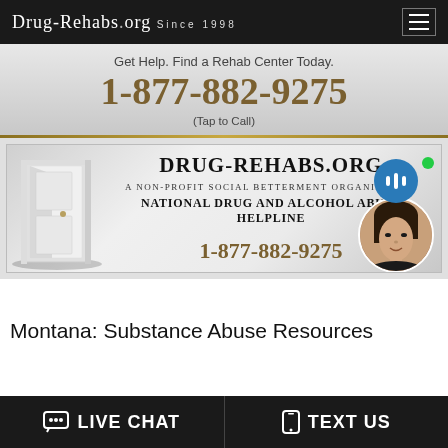Drug-Rehabs.org Since 1998
Get Help. Find a Rehab Center Today.
1-877-882-9275
(Tap to Call)
[Figure (illustration): Drug-Rehabs.org advertisement banner showing an open white door on the left, with text: DRUG-REHABS.ORG, A Non-Profit Social Betterment Organization, National Drug and Alcohol Abuse Helpline, 1-877-882-9275. An online agent chat widget is visible in the bottom right corner with a woman's face, a blue microphone bubble icon, a green online dot, and an 'Online Agent' label.]
Montana: Substance Abuse Resources
💬 LIVE CHAT
📱 TEXT US